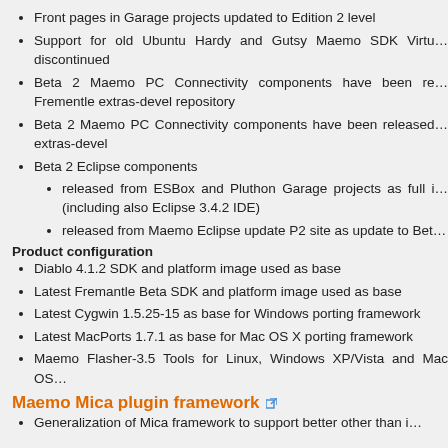Front pages in Garage projects updated to Edition 2 level
Support for old Ubuntu Hardy and Gutsy Maemo SDK Virtu… discontinued
Beta 2 Maemo PC Connectivity components have been re… Frementle extras-devel repository
Beta 2 Maemo PC Connectivity components have been released… extras-devel
Beta 2 Eclipse components
released from ESBox and Pluthon Garage projects as full i… (including also Eclipse 3.4.2 IDE)
released from Maemo Eclipse update P2 site as update to Bet…
Product configuration
Diablo 4.1.2 SDK and platform image used as base
Latest Fremantle Beta SDK and platform image used as base
Latest Cygwin 1.5.25-15 as base for Windows porting framework
Latest MacPorts 1.7.1 as base for Mac OS X porting framework
Maemo Flasher-3.5 Tools for Linux, Windows XP/Vista and Mac OS…
Maemo Mica plugin framework
Generalization of Mica framework to support better other than i…